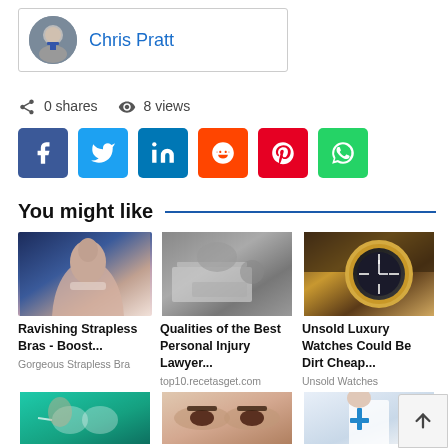[Figure (photo): Author avatar with name Chris Pratt in a bordered box]
0 shares   8 views
[Figure (infographic): Social share buttons: Facebook, Twitter, LinkedIn, Reddit, Pinterest, WhatsApp]
You might like
[Figure (photo): Woman with long dark hair, glamour portrait]
Ravishing Strapless Bras - Boost...
Gorgeous Strapless Bra
[Figure (photo): Hospital scene, patient in bed]
Qualities of the Best Personal Injury Lawyer...
top10.recetasget.com
[Figure (photo): Luxury watch on dark leather background]
Unsold Luxury Watches Could Be Dirt Cheap...
Unsold Watches
[Figure (photo): Person with glasses on teal background]
[Figure (photo): Close-up of eyes/eyebrows]
[Figure (photo): Medical professional in white coat]